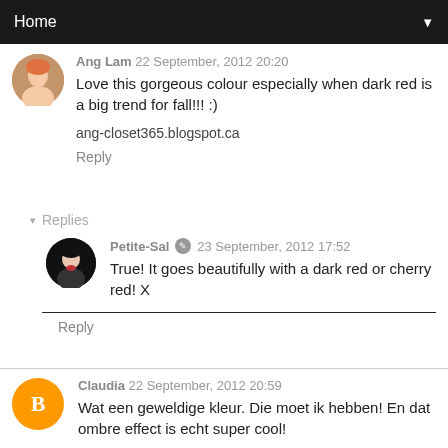Home
Ang Lam 22 September, 2012 20:20
Love this gorgeous colour especially when dark red is a big trend for fall!!! :)
ang-closet365.blogspot.ca
Reply
▾ Replies
Petite-Sal 23 September, 2012 17:52
True! It goes beautifully with a dark red or cherry red! X
Reply
Claudia 22 September, 2012 20:59
Wat een geweldige kleur. Die moet ik hebben! En dat ombre effect is echt super cool!